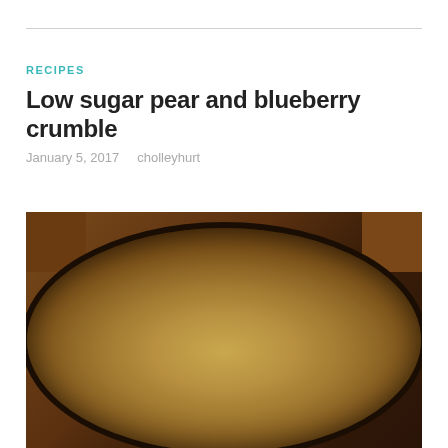RECIPES
Low sugar pear and blueberry crumble
January 5, 2017   cholleyhurt
[Figure (photo): A round dark baking dish filled with pear and blueberry crumble topping, golden-brown crumbly texture, photographed from above on a wooden table surface.]